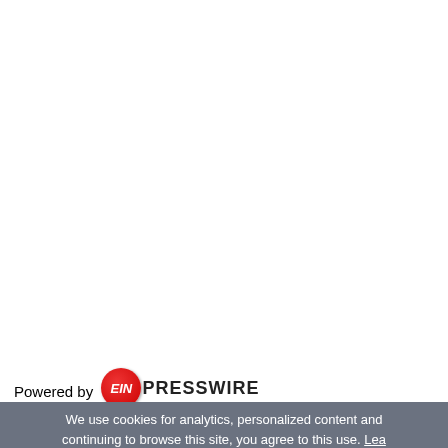[Figure (logo): EIN Presswire logo — red circle with 'EIN' in white italic text followed by 'PRESSWIRE' in bold black letters, with subtitle 'a digital news provider']
Powered by EIN PRESSWIRE
Distribution channels: Agriculture, Farming & Forestry Industry,
We use cookies for analytics, personalized content and continuing to browse this site, you agree to this use. Lea